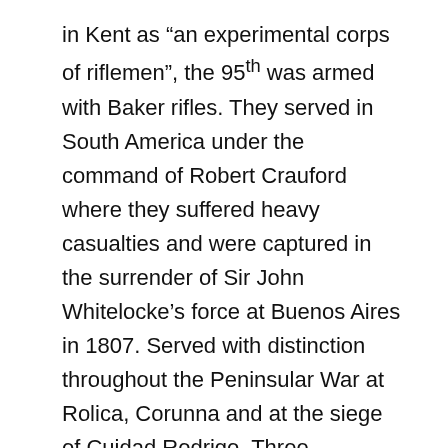in Kent as “an experimental corps of riflemen”, the 95th was armed with Baker rifles. They served in South America under the command of Robert Crauford where they suffered heavy casualties and were captured in the surrender of Sir John Whitelocke’s force at Buenos Aires in 1807. Served with distinction throughout the Peninsular War at Rolica, Corunna and at the siege of Cuidad Rodrigo. Three battalions served at Waterloo in 1815 and particularly distinguished themselves at the defence of Le Haye Sainte throughout the battle.